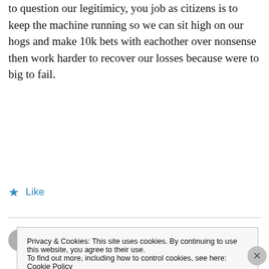to question our legitimicy, you job as citizens is to keep the machine running so we can sit high on our hogs and make 10k bets with eachother over nonsense then work harder to recover our losses because were to big to fail.
★ Like
Rick Duffin
Privacy & Cookies: This site uses cookies. By continuing to use this website, you agree to their use.
To find out more, including how to control cookies, see here: Cookie Policy
Close and accept